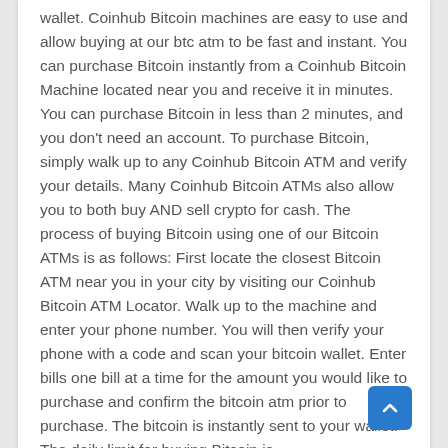wallet. Coinhub Bitcoin machines are easy to use and allow buying at our btc atm to be fast and instant. You can purchase Bitcoin instantly from a Coinhub Bitcoin Machine located near you and receive it in minutes. You can purchase Bitcoin in less than 2 minutes, and you don't need an account. To purchase Bitcoin, simply walk up to any Coinhub Bitcoin ATM and verify your details. Many Coinhub Bitcoin ATMs also allow you to both buy AND sell crypto for cash. The process of buying Bitcoin using one of our Bitcoin ATMs is as follows: First locate the closest Bitcoin ATM near you in your city by visiting our Coinhub Bitcoin ATM Locator. Walk up to the machine and enter your phone number. You will then verify your phone with a code and scan your bitcoin wallet. Enter bills one bill at a time for the amount you would like to purchase and confirm the bitcoin atm prior to purchase. The bitcoin is instantly sent to your wallet. The daily limit for buying Bitcoin is